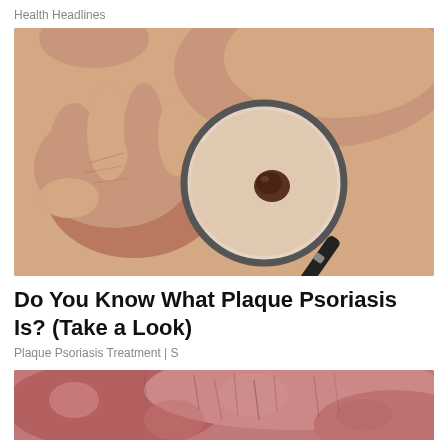Health Headlines
[Figure (photo): Close-up photo of a hand holding a magnifying glass over a skin spot/mole on a person's arm or shoulder, on a peach/skin-toned background. The magnifying glass reveals and enlarges a dark brown mole on the skin.]
Do You Know What Plaque Psoriasis Is? (Take a Look)
Plaque Psoriasis Treatment | S
[Figure (photo): Close-up photo of skin with reddish-pink texture, possibly showing psoriasis plaques or inflamed skin condition, partially cropped at the bottom of the page.]